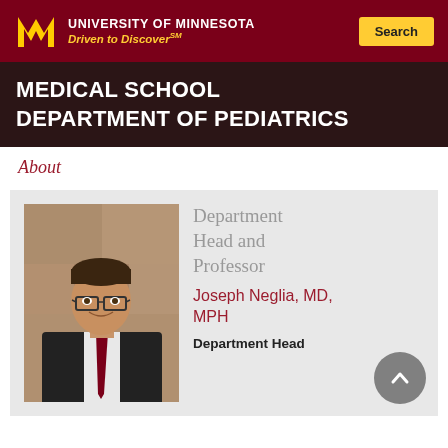University of Minnesota — Driven to Discover℠
MEDICAL SCHOOL
DEPARTMENT OF PEDIATRICS
About
[Figure (photo): Portrait photo of Joseph Neglia, MD, MPH — a middle-aged man with glasses, wearing a dark suit and a dark red tie with a University of Minnesota tie pin, smiling against a stone wall background.]
Department Head and Professor
Joseph Neglia, MD, MPH
Department Head